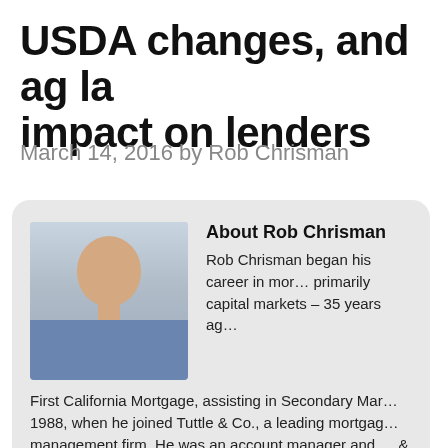USDA changes, and ag la… impact on lenders
March 14, 2016 by Rob Chrisman
[Figure (photo): Headshot of Rob Chrisman, a bald man in a blue shirt, smiling]
About Rob Chrisman
Rob Chrisman began his career in mor… primarily capital markets – 35 years ag… First California Mortgage, assisting in Secondary Mar… 1988, when he joined Tuttle & Co., a leading mortgag… management firm. He was an account manager and … & Co. until 1996, when he moved to Scotland with his… months. Read more...